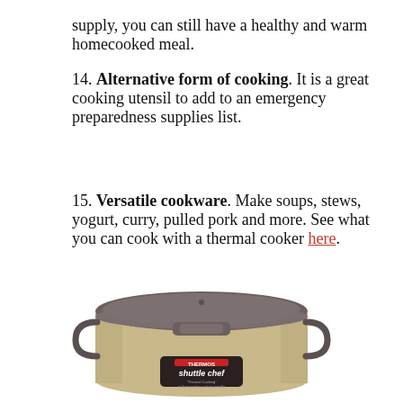supply, you can still have a healthy and warm homecooked meal.
14. Alternative form of cooking. It is a great cooking utensil to add to an emergency preparedness supplies list.
15. Versatile cookware. Make soups, stews, yogurt, curry, pulled pork and more. See what you can cook with a thermal cooker here.
[Figure (photo): A Thermos Shuttle Chef thermal cooker in silver/gold color with a dark brown/gray lid and handle, showing the Shuttle Chef logo on the front.]